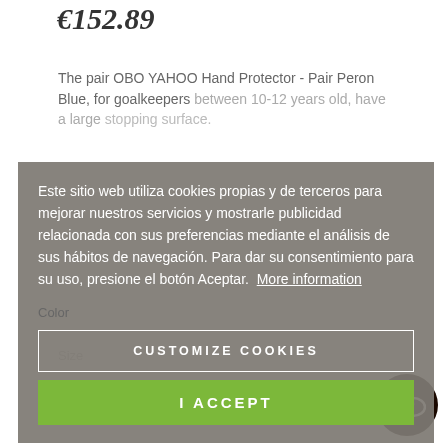€152.89
The pair OBO YAHOO Hand Protector - Pair Peron Blue, for goalkeepers between 10-12 years old, have a large stopping surface.
Este sitio web utiliza cookies propias y de terceros para mejorar nuestros servicios y mostrarle publicidad relacionada con sus preferencias mediante el análisis de sus hábitos de navegación. Para dar su consentimiento para su uso, presione el botón Aceptar.  More information
Color
CUSTOMIZE COOKIES
I ACCEPT
1
ADD TO CART
✕  OUT-OF-STOCK